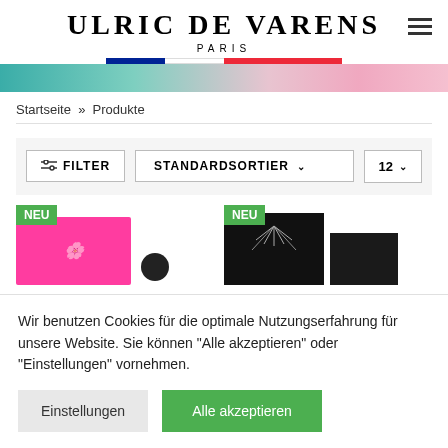[Figure (logo): Ulric de Varens Paris brand logo with French flag stripe and hamburger menu icon]
[Figure (photo): Colorful banner image with teal, pink gradient tones]
Startseite  »  Produkte
[Figure (screenshot): Filter bar with FILTER button, STANDARDSORTIER dropdown, and 12 count selector]
[Figure (photo): Product grid showing pink perfume box with NEU badge, small dark cylinder, black perfume boxes with NEU badge]
Wir benutzen Cookies für die optimale Nutzungserfahrung für unsere Website. Sie können "Alle akzeptieren" oder "Einstellungen" vornehmen.
Einstellungen
Alle akzeptieren